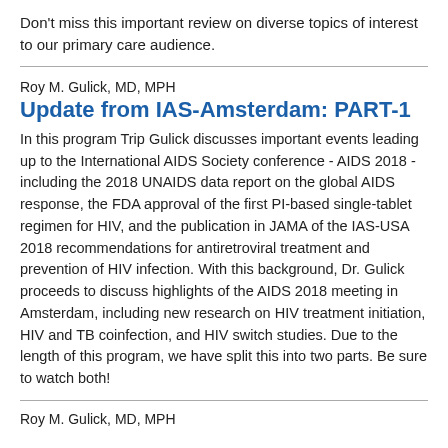Don't miss this important review on diverse topics of interest to our primary care audience.
Roy M. Gulick, MD, MPH
Update from IAS-Amsterdam: PART-1
In this program Trip Gulick discusses important events leading up to the International AIDS Society conference - AIDS 2018 - including the 2018 UNAIDS data report on the global AIDS response, the FDA approval of the first PI-based single-tablet regimen for HIV, and the publication in JAMA of the IAS-USA 2018 recommendations for antiretroviral treatment and prevention of HIV infection. With this background, Dr. Gulick proceeds to discuss highlights of the AIDS 2018 meeting in Amsterdam, including new research on HIV treatment initiation, HIV and TB coinfection, and HIV switch studies. Due to the length of this program, we have split this into two parts. Be sure to watch both!
Roy M. Gulick, MD, MPH